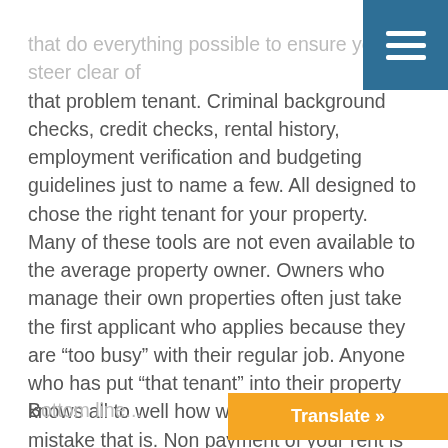that do everything possible to ensure you steer clear of that problem tenant. Criminal background checks, credit checks, rental history, employment verification and budgeting guidelines just to name a few. All designed to chose the right tenant for your property. Many of these tools are not even available to the average property owner. Owners who manage their own properties often just take the first applicant who applies because they are “too busy” with their regular job. Anyone who has put “that tenant” into their property knows all to well how what an expensive mistake that is. Non payment of your rent is often the lease of your problems. Many owners end up spending thousands of dollars repairing damages to the property, on top of all the lost rent.
Bottom line...